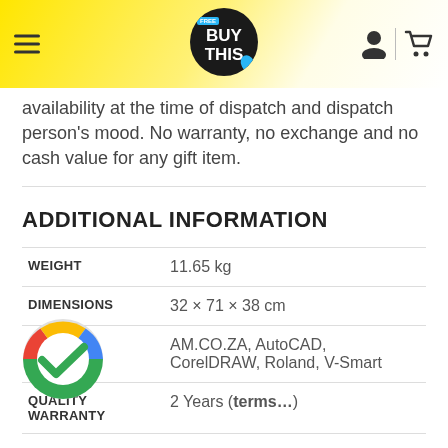BUY THIS (logo/navigation header)
availability at the time of dispatch and dispatch person's mood. No warranty, no exchange and no cash value for any gift item.
ADDITIONAL INFORMATION
| Attribute | Value |
| --- | --- |
| WEIGHT | 11.65 kg |
| DIMENSIONS | 32 × 71 × 38 cm |
| B | AM.CO.ZA, AutoCAD, CorelDRAW, Roland, V-Smart |
| QUALITY WARRANTY | 2 Years (terms...) |
[Figure (logo): Google-style colored checkmark circle logo overlaid on the page]